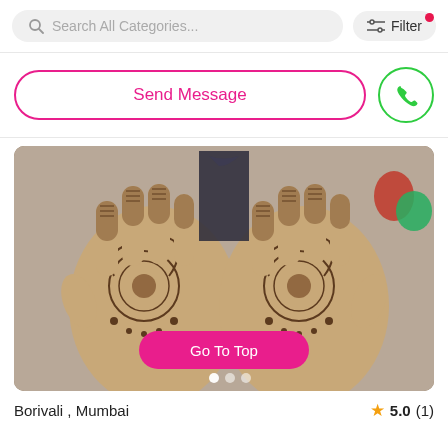[Figure (screenshot): Mobile app UI screenshot showing a search bar with 'Search All Categories...' placeholder text and a Filter button with a red notification dot]
[Figure (screenshot): Send Message button (pink outline) and a green phone icon button]
[Figure (photo): Photo of two hands with intricate henna/mehndi designs applied, showing detailed patterns on the palms. A pink 'Go To Top' button overlays the image. Two navigation dots appear at the bottom of the image.]
Borivali , Mumbai
5.0 (1)